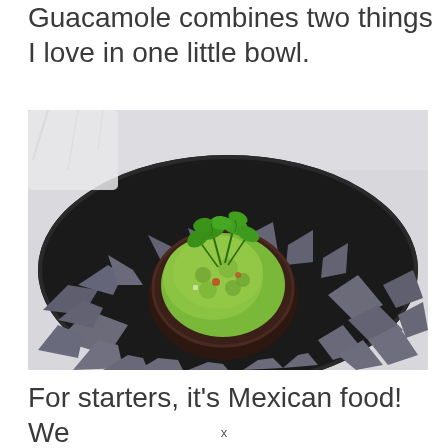Guacamole combines two things I love in one little bowl.
[Figure (photo): A bowl of guacamole topped with fresh cilantro, surrounded by blue/purple corn tortilla chips on a dark round plate, photographed from above on a light marble surface.]
For starters, it's Mexican food! We